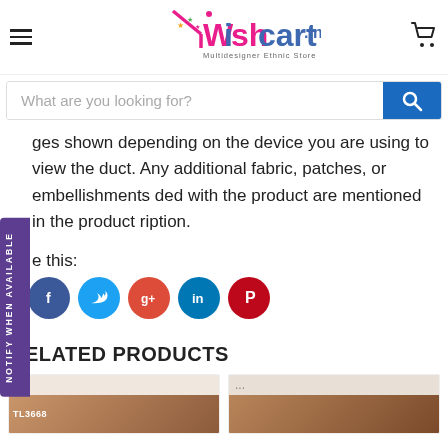Wishcart.in Multidesigner Ethnic Store
ges shown depending on the device you are using to view the duct. Any additional fabric, patches, or embellishments ded with the product are mentioned in the product ription.
e this:
[Figure (infographic): Social share icons: Facebook, Twitter, Google+, LinkedIn, Pinterest]
RELATED PRODUCTS
[Figure (photo): Two product card thumbnails with '...' and product codes TL3668 and another]